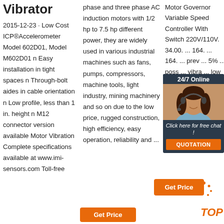Vibrator
2015-12-23 · Low Cost ICP®Accelerometer Model 602D01, Model M602D01 n Easy installation in tight spaces n Through-bolt aides in cable orientation n Low profile, less than 1 in. height n M12 connector version available Motor Vibration Complete specifications available at www.imi-sensors.com Toll-free
phase and three phase AC induction motors with 1/2 hp to 7.5 hp different power, they are widely used in various industrial machines such as fans, pumps, compressors, machine tools, light industry, mining machinery and so on due to the low price, rugged construction, high efficiency, easy operation, reliability and ...
Motor Governor Variable Speed Controller With Switch 220V/110V. 34.00. ... 164. ... 164. ... prev ... 5% ... poss ... vibra ... low ... only ... high
[Figure (other): 24/7 Online chat widget with woman wearing headset, dark background, orange QUOTATION button]
[Figure (other): Orange Get Price button with TOP badge in orange italic text]
[Figure (other): Orange Get Price button at bottom of column 2]